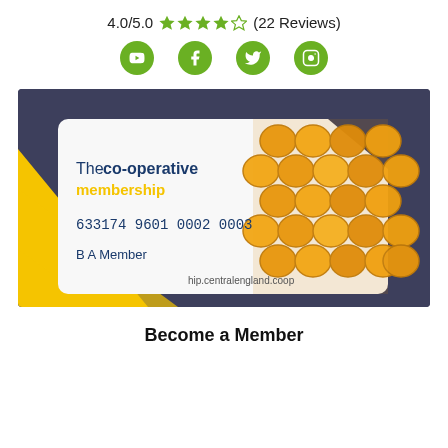4.0/5.0 ★★★★☆ (22 Reviews)
[Figure (infographic): Four green circular social media icons: YouTube, Facebook, Twitter, Instagram]
[Figure (photo): The Co-operative membership card showing card number 633174 9601 0002 0003, name B A Member, website hip.centralengland.coop, with honeycomb pattern on the right side, placed on a yellow background]
Become a Member